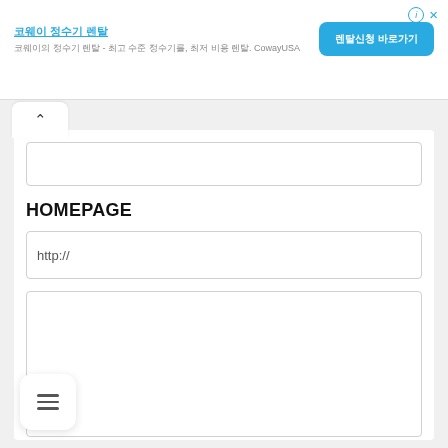[Figure (screenshot): Ad banner with Korean text title, subtitle mentioning CowayUSA, a blue CTA button with Korean text, and close/info icons in top right]
HOMEPAGE
http://
[Figure (screenshot): Mobile app UI with collapse arrow button, empty input box, HOMEPAGE label, URL input field with http://, large empty text area, and hamburger menu button at bottom left]